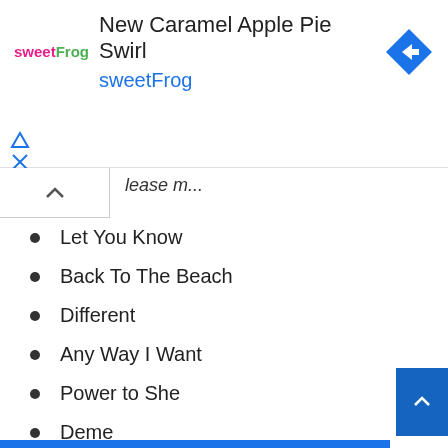[Figure (screenshot): SweetFrog advertisement banner showing 'New Caramel Apple Pie Swirl' with sweetFrog logo and navigation arrow icon]
lease m...
Let You Know
Back To The Beach
Different
Any Way I Want
Power to She
Deme
Into the Jungle
The Sound
Never Change
Just Fine
Thirsty